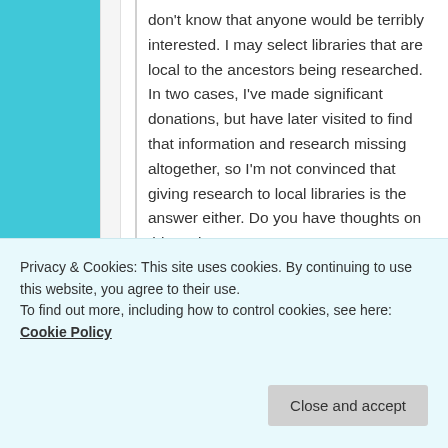don't know that anyone would be terribly interested. I may select libraries that are local to the ancestors being researched. In two cases, I've made significant donations, but have later visited to find that information and research missing altogether, so I'm not convinced that giving research to local libraries is the answer either. Do you have thoughts on this topic?
★ Like
Reply ↓
archive your family history. In
Privacy & Cookies: This site uses cookies. By continuing to use this website, you agree to their use.
To find out more, including how to control cookies, see here: Cookie Policy
Close and accept